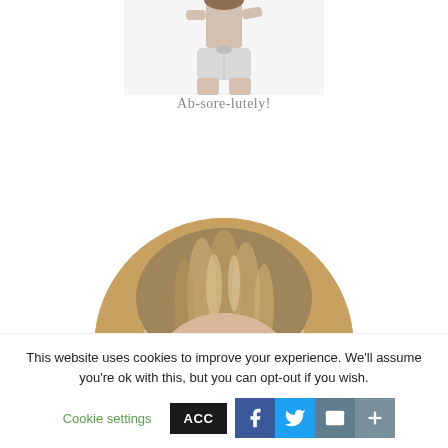[Figure (photo): Partial photo of a person in gray shorts showing torso/lower body, cropped at top]
Ab-sore-lutely!
[Figure (photo): Circular cropped portrait photo of a person with blonde/brown hair, viewed from slightly above, with golden/tan background circle]
This website uses cookies to improve your experience. We'll assume you're ok with this, but you can opt-out if you wish.
Cookie settings  ACCEPT